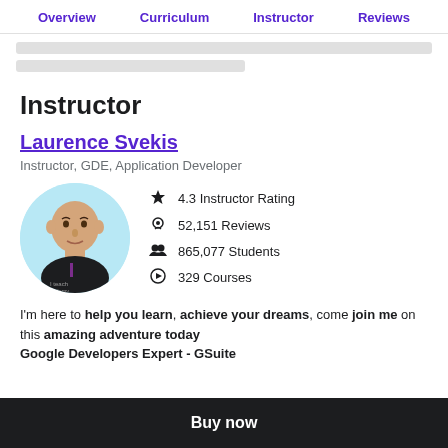Overview  Curriculum  Instructor  Reviews
Instructor
Laurence Svekis
Instructor, GDE, Application Developer
[Figure (photo): Circular profile photo of Laurence Svekis, wearing a black t-shirt with 'I teach with Udemy' text, against a light blue background]
4.3 Instructor Rating
52,151 Reviews
865,077 Students
329 Courses
I'm here to help you learn, achieve your dreams, come join me on this amazing adventure today Google Developers Expert - GSuite
Buy now